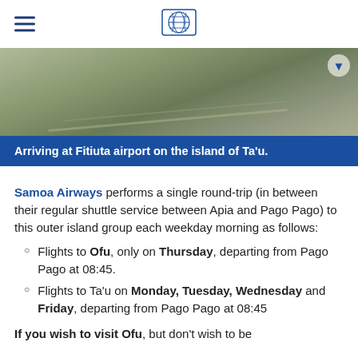[Figure (photo): Aerial or ground photo of Fitiuta airport on the island of Ta'u, showing runway/pavement area.]
Arriving at Fitiuta airport on the island of Ta'u.
Samoa Airways performs a single round-trip (in between their regular shuttle service between Apia and Pago Pago) to this outer island group each weekday morning as follows:
Flights to Ofu, only on Thursday, departing from Pago Pago at 08:45.
Flights to Ta'u on Monday, Tuesday, Wednesday and Friday, departing from Pago Pago at 08:45
If you wish to visit Ofu, but don't wish to be